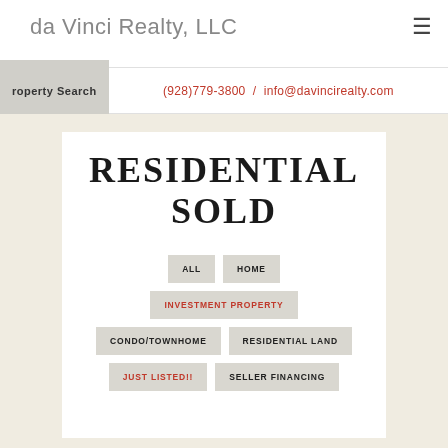da Vinci Realty, LLC
(928)779-3800 / info@davincirealty.com
RESIDENTIAL SOLD
ALL
HOME
INVESTMENT PROPERTY
CONDO/TOWNHOME
RESIDENTIAL LAND
JUST LISTED!!
SELLER FINANCING